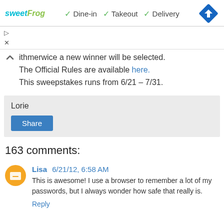[Figure (logo): sweetFrog logo in teal and green italic text]
✓ Dine-in ✓ Takeout ✓ Delivery
[Figure (infographic): Blue diamond navigation/directions icon with white arrow]
ithmerwice a new winner will be selected.
The Official Rules are available here.
This sweepstakes runs from 6/21 – 7/31.
Lorie
Share
163 comments:
Lisa 6/21/12, 6:58 AM
This is awesome! I use a browser to remember a lot of my passwords, but I always wonder how safe that really is.
Reply